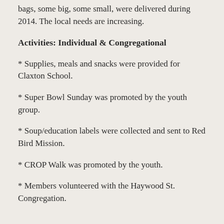bags, some big, some small, were delivered during 2014. The local needs are increasing.
Activities: Individual & Congregational
* Supplies, meals and snacks were provided for Claxton School.
* Super Bowl Sunday was promoted by the youth group.
* Soup/education labels were collected and sent to Red Bird Mission.
* CROP Walk was promoted by the youth.
* Members volunteered with the Haywood St. Congregation.